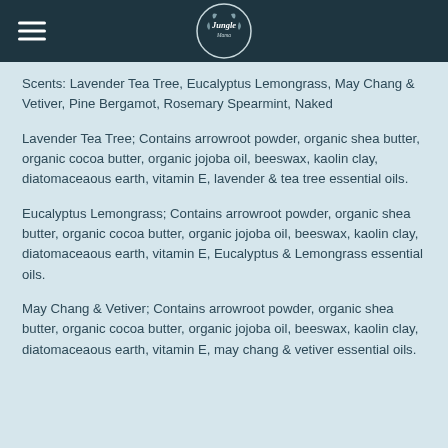Jungle [logo]
Scents: Lavender Tea Tree, Eucalyptus Lemongrass, May Chang & Vetiver, Pine Bergamot, Rosemary Spearmint, Naked
Lavender Tea Tree; Contains arrowroot powder, organic shea butter, organic cocoa butter, organic jojoba oil, beeswax, kaolin clay, diatomaceaous earth, vitamin E, lavender & tea tree essential oils.
Eucalyptus Lemongrass; Contains arrowroot powder, organic shea butter, organic cocoa butter, organic jojoba oil, beeswax, kaolin clay, diatomaceaous earth, vitamin E, Eucalyptus & Lemongrass essential oils.
May Chang & Vetiver; Contains arrowroot powder, organic shea butter, organic cocoa butter, organic jojoba oil, beeswax, kaolin clay, diatomaceaous earth, vitamin E, may chang & vetiver essential oils.